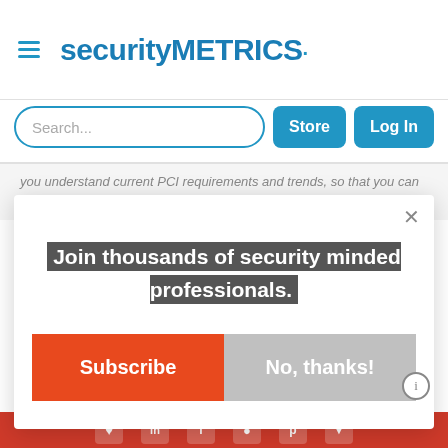securityMETRICS
Search...
you understand current PCI requirements and trends, so that you can better protect data...
Join thousands of security minded professionals.
Subscribe
No, thanks!